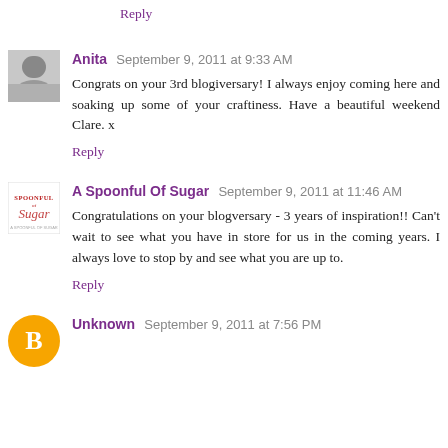Reply
Anita  September 9, 2011 at 9:33 AM
Congrats on your 3rd blogiversary! I always enjoy coming here and soaking up some of your craftiness. Have a beautiful weekend Clare. x
Reply
A Spoonful Of Sugar  September 9, 2011 at 11:46 AM
Congratulations on your blogversary - 3 years of inspiration!! Can't wait to see what you have in store for us in the coming years. I always love to stop by and see what you are up to.
Reply
Unknown  September 9, 2011 at 7:56 PM